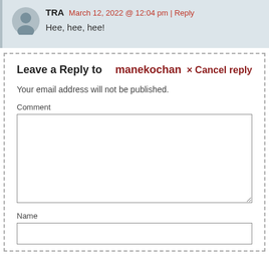TRA  March 12, 2022 @ 12:04 pm | Reply
Hee, hee, hee!
Leave a Reply to  manekochan  × Cancel reply
Your email address will not be published.
Comment
Name